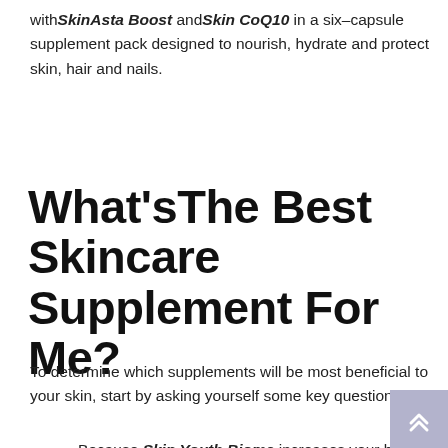with SkinAsta Boost and Skin CoQ10 in a six–capsule supplement pack designed to nourish, hydrate and protect skin, hair and nails.
What'sThe Best Skincare Supplement For Me?
To determine which supplements will be most beneficial to your skin, start by asking yourself some key questions:
Because Skin Youth Biome increases your body's ability to benefit from all foods and vitamins, we suggest making it the foundation of your supplement regimen.